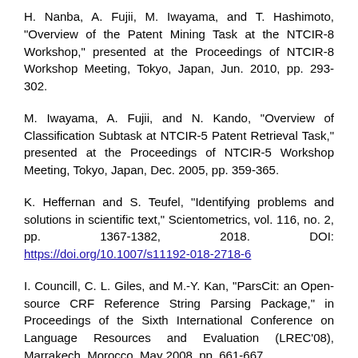H. Nanba, A. Fujii, M. Iwayama, and T. Hashimoto, "Overview of the Patent Mining Task at the NTCIR-8 Workshop," presented at the Proceedings of NTCIR-8 Workshop Meeting, Tokyo, Japan, Jun. 2010, pp. 293-302.
M. Iwayama, A. Fujii, and N. Kando, "Overview of Classification Subtask at NTCIR-5 Patent Retrieval Task," presented at the Proceedings of NTCIR-5 Workshop Meeting, Tokyo, Japan, Dec. 2005, pp. 359-365.
K. Heffernan and S. Teufel, "Identifying problems and solutions in scientific text," Scientometrics, vol. 116, no. 2, pp. 1367-1382, 2018. DOI: https://doi.org/10.1007/s11192-018-2718-6
I. Councill, C. L. Giles, and M.-Y. Kan, "ParsCit: an Open-source CRF Reference String Parsing Package," in Proceedings of the Sixth International Conference on Language Resources and Evaluation (LREC'08), Marrakech, Morocco, May 2008, pp. 661-667.